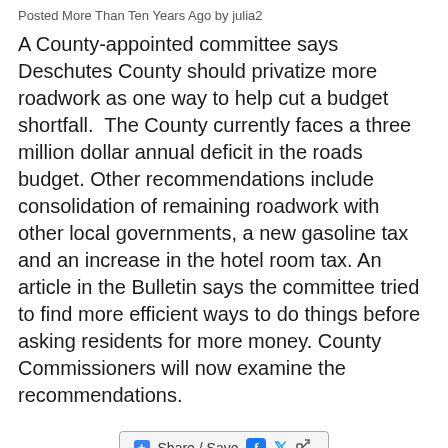Posted More Than Ten Years Ago by julia2
A County-appointed committee says Deschutes County should privatize more roadwork as one way to help cut a budget shortfall.  The County currently faces a three million dollar annual deficit in the roads budget. Other recommendations include consolidation of remaining roadwork with other local governments, a new gasoline tax and an increase in the hotel room tax. An article in the Bulletin says the committee tried to find more efficient ways to do things before asking residents for more money. County Commissioners will now examine the recommendations.
[Figure (other): Share / Save button with Facebook, Twitter, and share icons]
Welcome Bend's New City